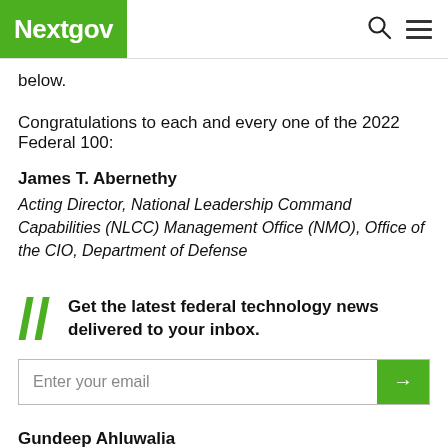Nextgov
below.
Congratulations to each and every one of the 2022 Federal 100:
James T. Abernethy
Acting Director, National Leadership Command Capabilities (NLCC) Management Office (NMO), Office of the CIO, Department of Defense
Get the latest federal technology news delivered to your inbox.
Gundeep Ahluwalia
CIO, Department of Labor